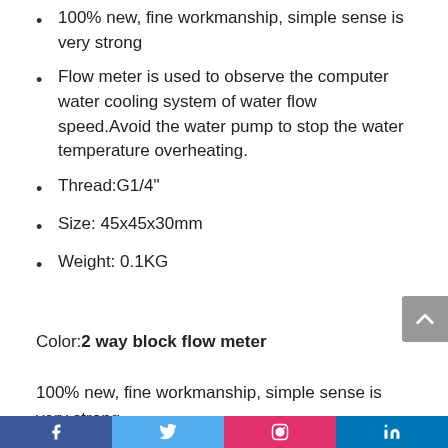100% new, fine workmanship, simple sense is very strong
Flow meter is used to observe the computer water cooling system of water flow speed.Avoid the water pump to stop the water temperature overheating.
Thread:G1/4"
Size: 45x45x30mm
Weight: 0.1KG
Color:2 way block flow meter
100% new, fine workmanship, simple sense is very strong
Flow meter is used to observe the computer water cooling